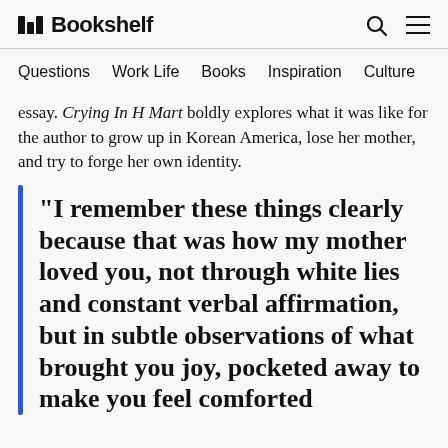Bookshelf
Questions  Work Life  Books  Inspiration  Culture
essay. Crying In H Mart boldly explores what it was like for the author to grow up in Korean America, lose her mother, and try to forge her own identity.
“I remember these things clearly because that was how my mother loved you, not through white lies and constant verbal affirmation, but in subtle observations of what brought you joy, pocketed away to make you feel comforted and loved from with out...